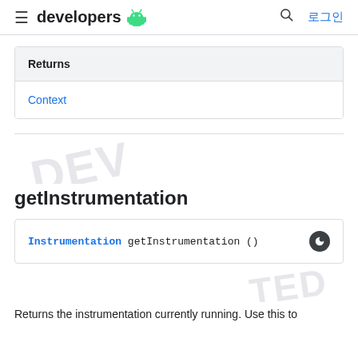≡ developers 🤖  🔍 로그인
| Returns |
| --- |
| Context |
getInstrumentation
Instrumentation getInstrumentation ()
Returns the instrumentation currently running. Use this to